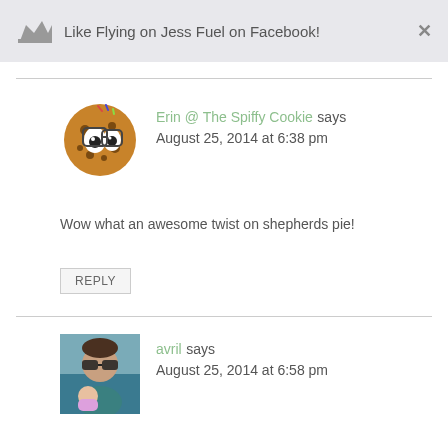Like Flying on Jess Fuel on Facebook!
Erin @ The Spiffy Cookie says
August 25, 2014 at 6:38 pm
Wow what an awesome twist on shepherds pie!
REPLY
avril says
August 25, 2014 at 6:58 pm
I am completely speechless as I salivate over your delicious dish! It looks amazing. Completely deliciously amazing! FABULOUS, fabulous pick for SRC! 🙂